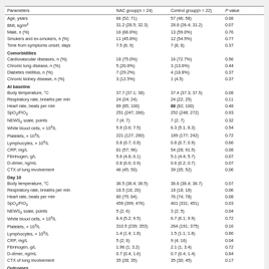| Parameters | NAC group(n = 24) | Control group(n = 22) | P value |
| --- | --- | --- | --- |
| Age, years | 66 (52; 71) | 57 (46; 58) | 0.08 |
| BMI, kg/m² | 31.2 (28.5; 32.3) | 28.8 (26.4; 31.2) | 0.07 |
| Male, n (%) | 16 (66.6%) | 13 (59.0%) | 0.76 |
| Smokers and ex-smokers, n (%) | 11 (45.8%) | 12 (54.5%) | 0.77 |
| Time from symptoms onset, days | 7.5 (6; 9) | 7 (6; 8) | 0.37 |
| Comorbidities |  |  |  |
| Cardiovascular diseases, n (%) | 18 (75.0%) | 16 (72.7%) | 0.56 |
| Chronic lung disease, n (%) | 5 (20.8%) | 3 (13.6%) | 0.44 |
| Diabetes mellitus, n (%) | 7 (29.2%) | 4 (18.8%) | 0.37 |
| Chronic kidney disease, n (%) | 3 (12.5%) | 1 (4.5) | 0.37 |
| At baseline |  |  |  |
| Body temperature, °C | 37.7 (37.1; 38) | 37.4 (37.3; 37.5) | 0.08 |
| Respiratory rate, breaths per min | 24 (24; 24) | 24 (22; 25) | 0.11 |
| Heart rate, beats per min | 89 (85; 100) | 88 (82; 100) | 0.48 |
| SpO₂/FiO₂ | 251 (247; 266) | 252 (248; 272) | 0.93 |
| NEWS₂ scale, points | 7 (4; 7) | 7 (2; 7) | 0.32 |
| White blood cells, × 10⁹/L | 5.9 (3.6; 7.5) | 6.3 (5.1; 8.3) | 0.54 |
| Platelets, × 10³/L | 221 (127; 280) | 189 (177; 242) | 0.72 |
| Lymphocytes, × 10⁹/L | 0.8 (0.7; 0.8) | 0.8 (0.7; 0.9) | 0.66 |
| CRP, mg/L | 81 (57; 96) | 54 (28; 91.5) | 0.08 |
| Fibrinogen, g/L | 5.6 (4.8; 6.1) | 5.1 (4.4; 5.7) | 0.07 |
| D-dimer, ng/mL | 0.8 (0.6; 0.9) | 0.6 (0.2; 0.7) | 0.07 |
| CTX of lung involvement | 46 (45; 50) | 39 (35; 52) | 0.06 |
| Day 10 |  |  |  |
| Body temperature, °C | 36.5 (36.4; 36.5) | 36.6 (36.4; 36.7) | 0.07 |
| Respiratory rate, breaths per min | 18.5 (18; 20) | 18 (18; 18) | 0.06 |
| Heart rate, beats per min | 80 (75; 84) | 76 (74; 78) | 0.08 |
| SpO₂/FiO₂ | 459 (399; 476) | 401 (331; 451) | 0.03 |
| NEWS₂ scale, points | 5 (2; 6) | 3 (2; 5) | 0.04 |
| White blood cells, × 10⁹/L | 8.4 (5.2; 9.5) | 6.7 (6.1; 9.9) | 0.72 |
| Platelets, × 10³/L | 310.5 (239; 353) | 264 (191; 375) | 0.16 |
| Lymphocytes, × 10⁹/L | 1.4 (1.4; 1.8) | 1.5 (1.1; 1.8) | 0.86 |
| CRP, mg/L | 5 (2; 8) | 9 (4; 16) | 0.04 |
| Fibrinogen, g/L | 1.96 (1; 3.2) | 2.1 (1; 3.4) | 0.72 |
| D-dimer, ng/mL | 0.7 (0.4; 1.6) | 0.7 (0.4; 1.4) | 0.84 |
| CTX of lung involvement | 35 (28; 35) | 35 (30; 45) | 0.17 |
| Outcomes |  |  |  |
| Transfer to ICU, n (%) | 1 (4.2%) | 4 (18.2%) | 0.18 |
| Intubation and IMV, n (%) | 1 (4.2%) | 4 (18.2%) | 0.18 |
| Non-invasive ventilation, n (%) | 3 (12.5%) | 6 (27.3%) | 0.28 |
| 28-day mortality, n (%) | 1 (4.2%) | 3 (13.6%) | 0.34 |
| Length of hospitalization, days | 11 (10; 12) | 13 (11; 16) | 0.01 |